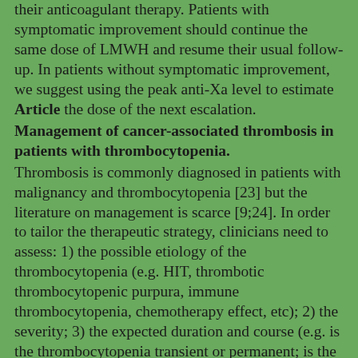their anticoagulant therapy. Patients with symptomatic improvement should continue the same dose of LMWH and resume their usual follow-up. In patients without symptomatic improvement, we suggest using the peak anti-Xa level to estimate Article the dose of the next escalation.
Management of cancer-associated thrombosis in patients with thrombocytopenia.
Thrombosis is commonly diagnosed in patients with malignancy and thrombocytopenia [23] but the literature on management is scarce [9;24]. In order to tailor the therapeutic strategy, clinicians need to assess: 1) the possible etiology of the thrombocytopenia (e.g. HIT, thrombotic thrombocytopenic purpura, immune thrombocytopenia, chemotherapy effect, etc); 2) the severity; 3) the expected duration and course (e.g. is the thrombocytopenia transient or permanent; is the current platelet count the nadir or will drop further); 4) if there are potentially reversible causes that can be corrected; and 5) if there are other risk factors for bleeding, such as advanced age or renal insufficiency. Anticoagulation in patients with thrombocytopenia should be made on an individual patient basis after assessing the risks and benefits, direction of care and in AcceptedFor situations when the use of anticoagulant therapy is considered,